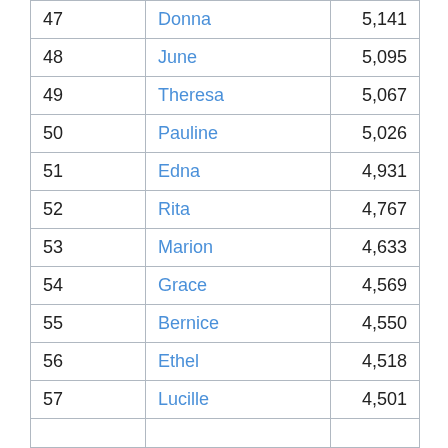| Rank | Name | Count |
| --- | --- | --- |
| 47 | Donna | 5,141 |
| 48 | June | 5,095 |
| 49 | Theresa | 5,067 |
| 50 | Pauline | 5,026 |
| 51 | Edna | 4,931 |
| 52 | Rita | 4,767 |
| 53 | Marion | 4,633 |
| 54 | Grace | 4,569 |
| 55 | Bernice | 4,550 |
| 56 | Ethel | 4,518 |
| 57 | Lucille | 4,501 |